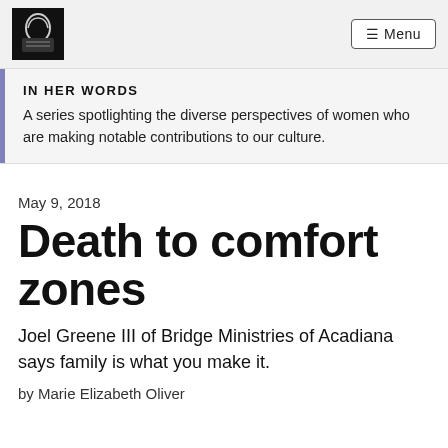☰ Menu
IN HER WORDS
A series spotlighting the diverse perspectives of women who are making notable contributions to our culture.
May 9, 2018
Death to comfort zones
Joel Greene III of Bridge Ministries of Acadiana says family is what you make it.
by Marie Elizabeth Oliver